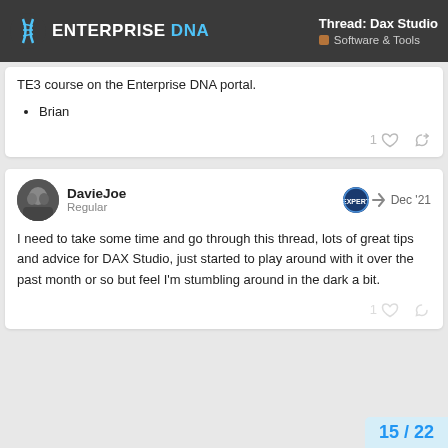Thread: Dax Studio | Software & Tools | Enterprise DNA
TE3 course on the Enterprise DNA portal.
Brian
DavieJoe · Regular · Dec '21
I need to take some time and go through this thread, lots of great tips and advice for DAX Studio, just started to play around with it over the past month or so but feel I'm stumbling around in the dark a bit.
15 / 22